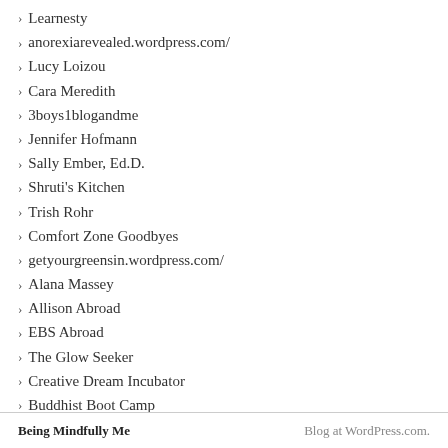Learnesty
anorexiarevealed.wordpress.com/
Lucy Loizou
Cara Meredith
3boys1blogandme
Jennifer Hofmann
Sally Ember, Ed.D.
Shruti's Kitchen
Trish Rohr
Comfort Zone Goodbyes
getyourgreensin.wordpress.com/
Alana Massey
Allison Abroad
EBS Abroad
The Glow Seeker
Creative Dream Incubator
Buddhist Boot Camp
Danielle LaPorte: white hot truth + sermons on life
Blog | Cynthia Occelli
Jenny Aiello
Being Mindfully Me    Blog at WordPress.com.